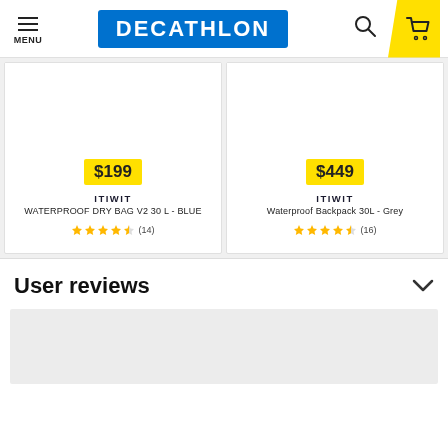MENU | DECATHLON
[Figure (other): Product card: ITIWIT WATERPROOF DRY BAG V2 30 L - BLUE, price $199, 4.5 stars (14 reviews)]
[Figure (other): Product card: ITIWIT Waterproof Backpack 30L - Grey, price $449, 4.5 stars (16 reviews)]
User reviews
[Figure (other): User reviews content area (grey box, content not visible)]